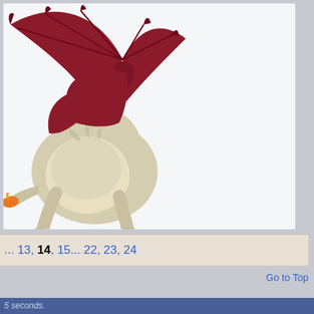[Figure (illustration): A fantasy dragon creature with dark red/crimson wings and a beige/cream furry lion-like body, shown from behind/side, crouching. The dragon has large bat-like wings, a fluffy tail tip in orange/gold, and visible claws.]
... 13, 14, 15... 22, 23, 24
Go to Top
5 seconds.
Us | Credits | Job Opportunities